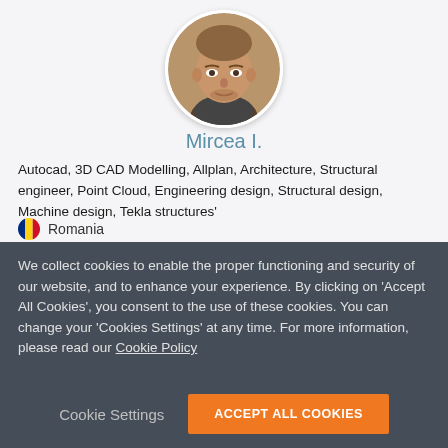[Figure (photo): Circular profile photo of a man with short hair, outdoor background]
Mircea I.
Autocad, 3D CAD Modelling, Allplan, Architecture, Structural engineer, Point Cloud, Engineering design, Structural design, Machine design, Tekla structures'
Romania
We collect cookies to enable the proper functioning and security of our website, and to enhance your experience. By clicking on 'Accept All Cookies', you consent to the use of these cookies. You can change your 'Cookies Settings' at any time. For more information, please read our Cookie Policy
Cookie Settings
ACCEPT ALL COOKIES